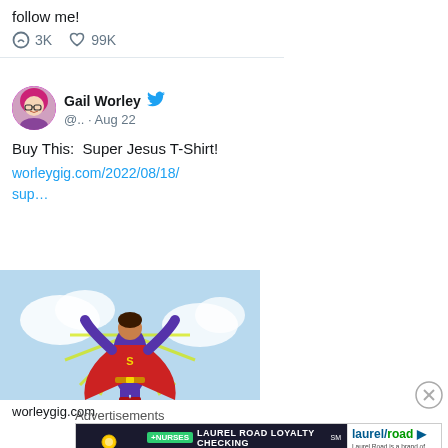follow me!
💬 3K ♡ 99K
Gail Worley @.. · Aug 22
Buy This:  Super Jesus T-Shirt!
worleygig.com/2022/08/18/sup…
[Figure (illustration): Cartoon superhero figure in purple and red cape flying upward with rays of light, light blue background]
worleygig.com
Advertisements
[Figure (other): Laurel Road Loyalty Checking advertisement banner. '+NURSES LAUREL ROAD LOYALTY CHECKING SM. The only checking rewards that pay you when you get paid. Laurel Road is a brand of KeyBank N.A. All products offered by KeyBank N.A. Member FDIC.']